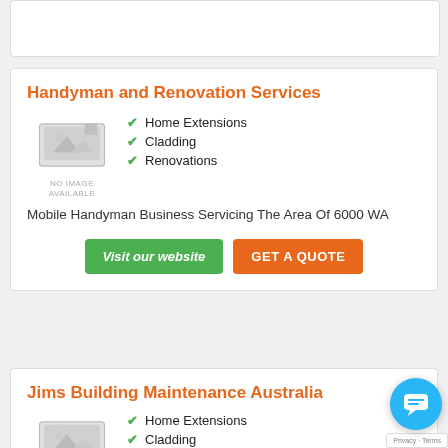[Figure (other): Partial white card at top of page (cropped)]
Handyman and Renovation Services
[Figure (other): No image available placeholder thumbnail]
Home Extensions
Cladding
Renovations
Mobile Handyman Business Servicing The Area Of 6000 WA
Visit our website | GET A QUOTE
Jims Building Maintenance Australia
Home Extensions
Cladding